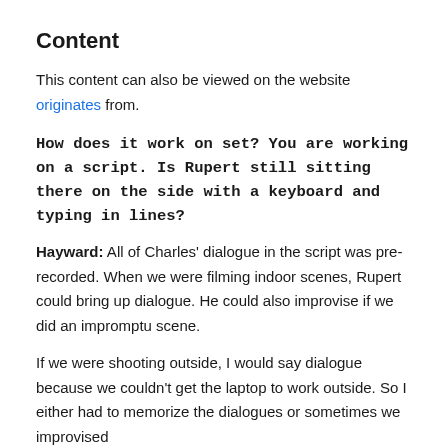Content
This content can also be viewed on the website originates from.
How does it work on set? You are working on a script. Is Rupert still sitting there on the side with a keyboard and typing in lines?
Hayward: All of Charles' dialogue in the script was pre-recorded. When we were filming indoor scenes, Rupert could bring up dialogue. He could also improvise if we did an impromptu scene.
If we were shooting outside, I would say dialogue because we couldn't get the laptop to work outside. So I either had to memorize the dialogues or sometimes we improvised